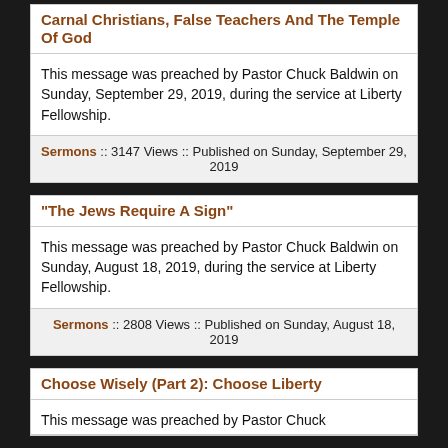Carnal Christians, False Teachers And The Temple Of God
This message was preached by Pastor Chuck Baldwin on Sunday, September 29, 2019, during the service at Liberty Fellowship.
Sermons :: 3147 Views :: Published on Sunday, September 29, 2019
"The Jews Require A Sign"
This message was preached by Pastor Chuck Baldwin on Sunday, August 18, 2019, during the service at Liberty Fellowship.
Sermons :: 2808 Views :: Published on Sunday, August 18, 2019
Choose Wisely (Part 2): Choose Liberty
This message was preached by Pastor Chuck